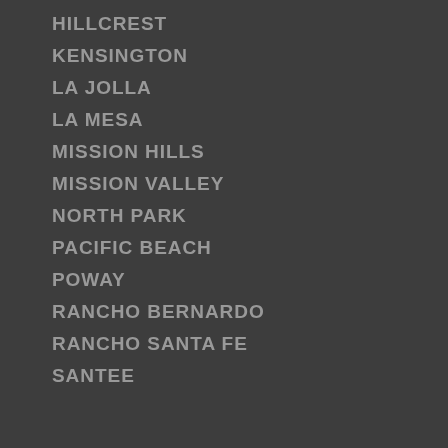HILLCREST
KENSINGTON
LA JOLLA
LA MESA
MISSION HILLS
MISSION VALLEY
NORTH PARK
PACIFIC BEACH
POWAY
RANCHO BERNARDO
RANCHO SANTA FE
SANTEE